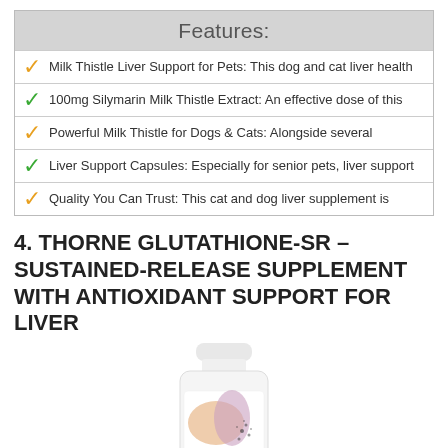Features:
Milk Thistle Liver Support for Pets: This dog and cat liver health
100mg Silymarin Milk Thistle Extract: An effective dose of this
Powerful Milk Thistle for Dogs & Cats: Alongside several
Liver Support Capsules: Especially for senior pets, liver support
Quality You Can Trust: This cat and dog liver supplement is
4. THORNE GLUTATHIONE-SR – SUSTAINED-RELEASE SUPPLEMENT WITH ANTIOXIDANT SUPPORT FOR LIVER
[Figure (photo): Thorne Glutathione-SR supplement bottle, white with label showing THORNE Glutathione-SR branding and colorful abstract design, 60 capsules]